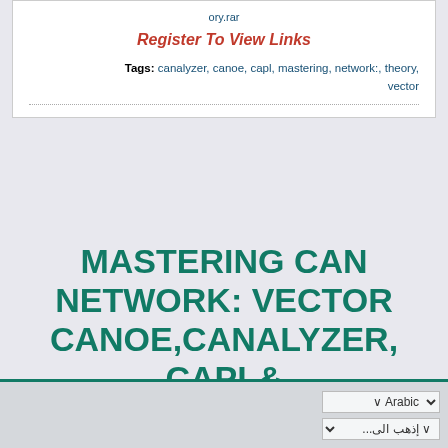http://solananet.one/2022/31/MasteringCANThe ory.rar
Register To View Links
Tags: canalyzer, canoe, capl, mastering, network:, theory, vector
MASTERING CAN NETWORK: VECTOR CANOE,CANALYZER, CAPL& THEORY - 1.52GB
Arabic
إذهب الى... ∨